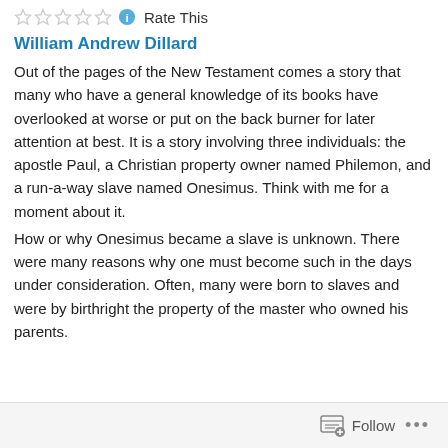Rate This
William Andrew Dillard
Out of the pages of the New Testament comes a story that many who have a general knowledge of its books have overlooked at worse or put on the back burner for later attention at best. It is a story involving three individuals: the apostle Paul, a Christian property owner named Philemon, and a run-a-way slave named Onesimus. Think with me for a moment about it.
How or why Onesimus became a slave is unknown. There were many reasons why one must become such in the days under consideration. Often, many were born to slaves and were by birthright the property of the master who owned his parents.
Follow ...